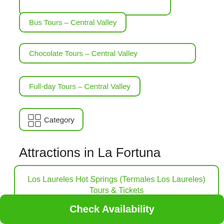Bus Tours - Central Valley
Chocolate Tours - Central Valley
Full-day Tours - Central Valley
Category
Attractions in La Fortuna
Los Laureles Hot Springs (Termales Los Laureles) Tours & Tickets
Check Availability